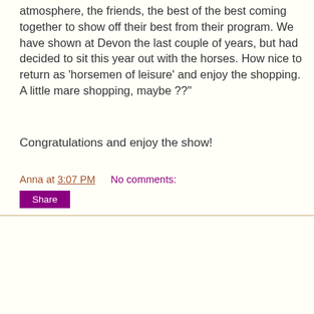atmosphere, the friends, the best of the best coming together to show off their best from their program. We have shown at Devon the last couple of years, but had decided to sit this year out with the horses. How nice to return as 'horsemen of leisure' and enjoy the shopping. A little mare shopping, maybe ??"
Congratulations and enjoy the show!
Anna at 3:07 PM    No comments:
Share
Care of the Mare and Foal at Weaning
From Uckele Health & Nutrition
By Dr. Eleanor Kellon, staff veterinary specialist
With feral horses, by the time weaning occurs naturally both mare and foal are more than ready for it. When we hasten the process artificially, there is inevitable stress.